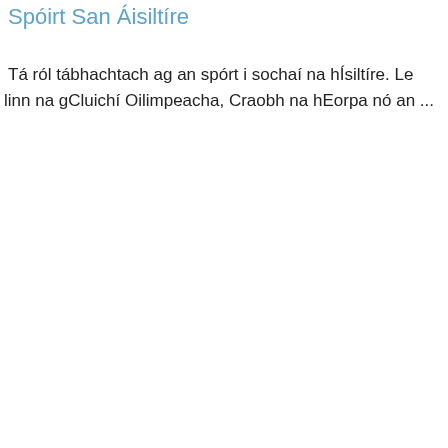Spóirt San Áisiltíre
Tá ról tábhachtach ag an spórt i sochaí na hÍsiltíre. Le linn na gCluichí Oilimpeacha, Craobh na hEorpa nó an ...